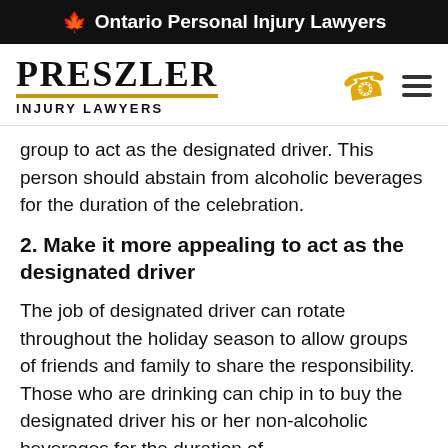🍁 Ontario Personal Injury Lawyers
[Figure (logo): Preszler Injury Lawyers logo with phone and menu icons]
group to act as the designated driver. This person should abstain from alcoholic beverages for the duration of the celebration.
2. Make it more appealing to act as the designated driver
The job of designated driver can rotate throughout the holiday season to allow groups of friends and family to share the responsibility. Those who are drinking can chip in to buy the designated driver his or her non-alcoholic beverages for the duration of